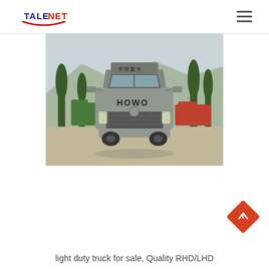TALENET
[Figure (photo): Front view of a silver HOWO heavy-duty truck parked in a lot with cypress trees and other trucks in the background]
light duty truck for sale, Quality RHD/LHD